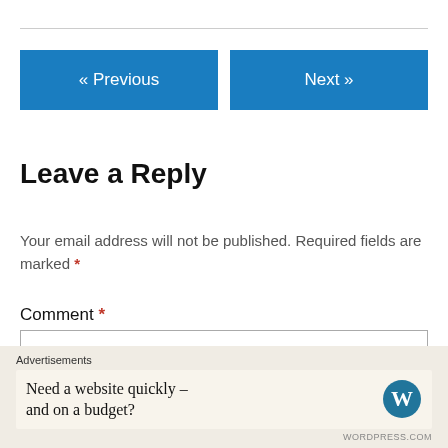« Previous    Next »
Leave a Reply
Your email address will not be published. Required fields are marked *
Comment *
Advertisements
Need a website quickly – and on a budget?